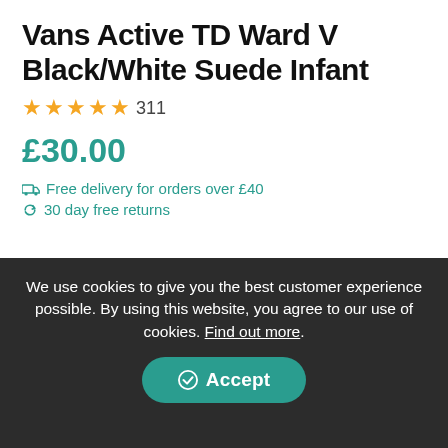Vans Active TD Ward V Black/White Suede Infant
★★★★★ 311
£30.00
🚚 Free delivery for orders over £40
↩ 30 day free returns
Colour: Black/White Suede/Canvas
We use cookies to give you the best customer experience possible. By using this website, you agree to our use of cookies. Find out more.
Accept